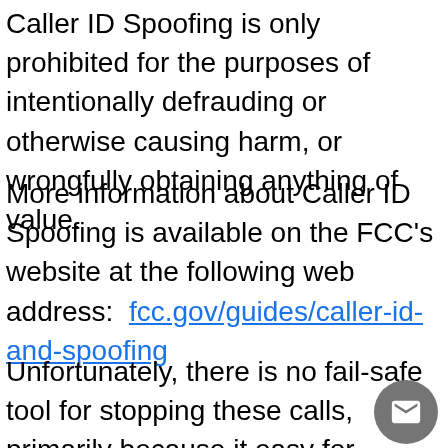Caller ID Spoofing is only prohibited for the purposes of intentionally defrauding or otherwise causing harm, or wrongfully obtaining anything of value.
More information about Caller ID Spoofing is available on the FCC's website at the following web address:  fcc.gov/guides/caller-id-and-spoofing
Unfortunately, there is no fail-safe tool for stopping these calls, primarily because it easy for scammers to fake the location fro...